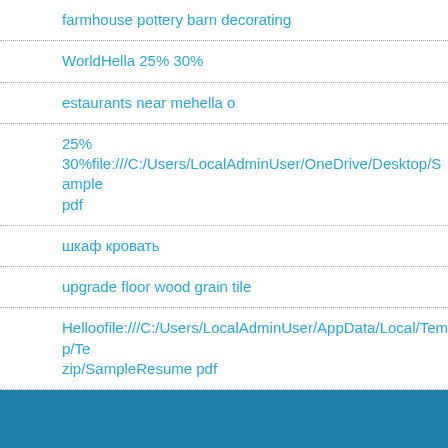farmhouse pottery barn decorating
WorldHella 25% 30%
estaurants near mehella o
25%
30%file:///C:/Users/LocalAdminUser/OneDrive/Desktop/Sample
pdf
шкаф кровать
upgrade floor wood grain tile
Helloofile:///C:/Users/LocalAdminUser/AppData/Local/Temp/Te
zip/SampleResume pdf
tommy bahama bedding